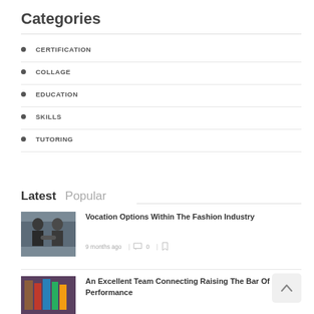Categories
CERTIFICATION
COLLAGE
EDUCATION
SKILLS
TUTORING
Latest    Popular
Vocation Options Within The Fashion Industry
9 months ago  |  0  |
An Excellent Team Connecting Raising The Bar Of Performance
[Figure (photo): Two men in suits shaking hands, business meeting setting]
[Figure (photo): Colorful books or materials on a shelf, education theme]